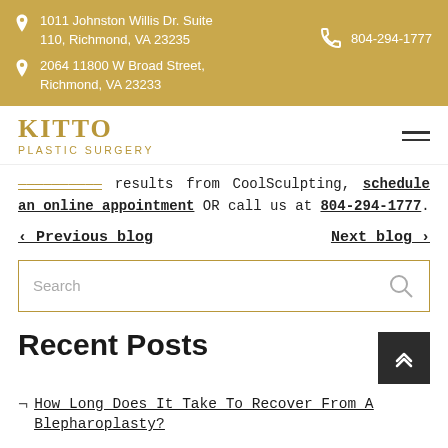1011 Johnston Willis Dr. Suite 110, Richmond, VA 23235 | 2064 11800 W Broad Street, Richmond, VA 23233 | 804-294-1777
[Figure (logo): Kitto Plastic Surgery logo with gold text and hamburger menu icon]
results from CoolSculpting, schedule an online appointment OR call us at 804-294-1777.
< Previous blog   Next blog >
Search
Recent Posts
How Long Does It Take To Recover From A Blepharoplasty?